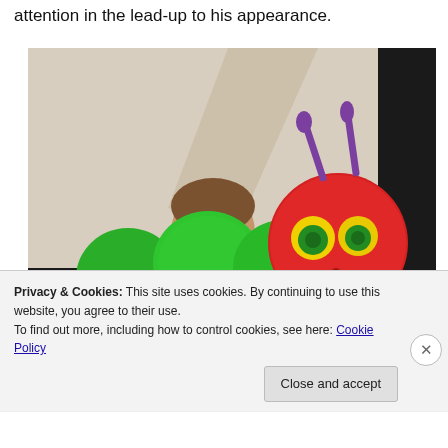attention in the lead-up to his appearance.
[Figure (photo): A person holding up a large colorful stuffed caterpillar puppet/toy (The Very Hungry Caterpillar) with a red head, green body, yellow-outlined eyes, and purple antennae. A person's face is partially visible behind the puppet.]
Privacy & Cookies: This site uses cookies. By continuing to use this website, you agree to their use.
To find out more, including how to control cookies, see here: Cookie Policy
Close and accept